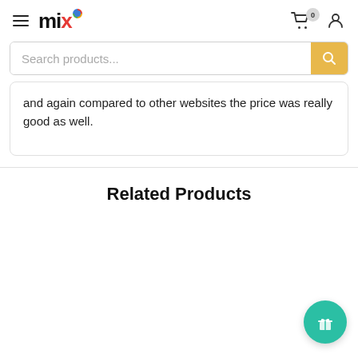mix (logo) — navigation header with hamburger menu, cart (0), and user icon
Search products...
and again compared to other websites the price was really good as well.
Related Products